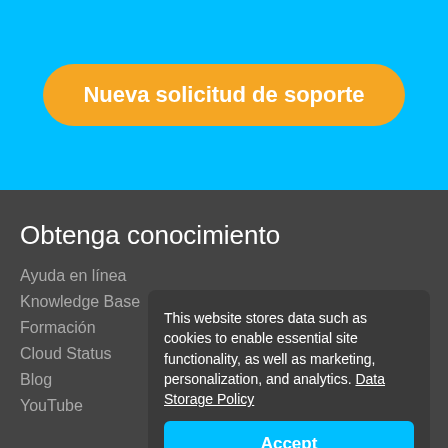[Figure (screenshot): Blue background section with an orange rounded button labeled 'Nueva solicitud de soporte' in white bold text]
Obtenga conocimiento
Ayuda en línea
Knowledge Base
Formación
Cloud Status
Blog
YouTube
This website stores data such as cookies to enable essential site functionality, as well as marketing, personalization, and analytics. Data Storage Policy
Accept
Deny